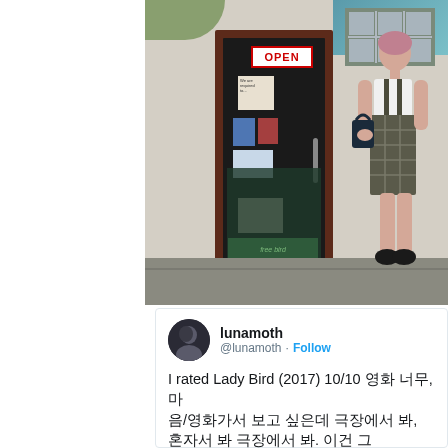[Figure (photo): Movie still from Lady Bird (2017): A young woman in a plaid jumper and white t-shirt leans against a beige stucco wall next to a dark door with an OPEN sign and various stickers. The scene appears to be outside a small shop.]
lunamoth @lunamoth · Follow
I rated Lady Bird (2017) 10/10 [Korean text], [Korean text]. [Korean text], [Korean text]. [Korean text]